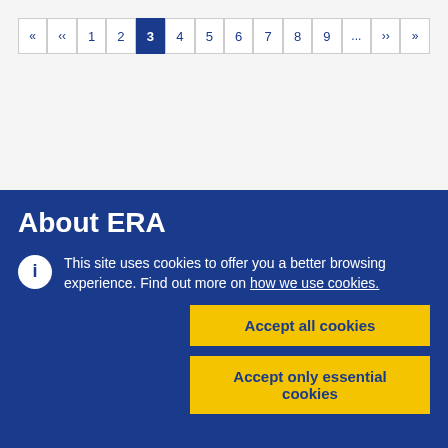[Figure (other): Pagination navigation bar with page buttons: «, «, 1, 2, 3 (active/selected), 4, 5, 6, 7, 8, 9, ..., », »]
About ERA
This site uses cookies to offer you a better browsing experience. Find out more on how we use cookies.
[Figure (other): Accept all cookies button (yellow background, dark blue text)]
[Figure (other): Accept only essential cookies button (yellow background, dark blue text)]